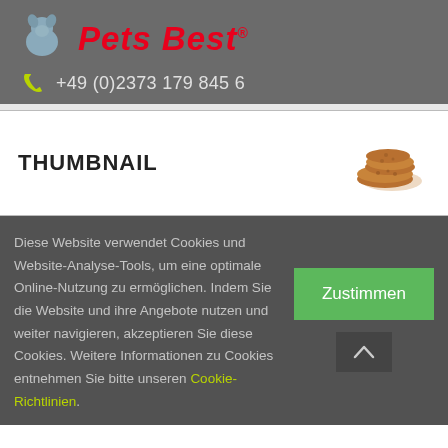[Figure (logo): Pets Best logo with blue pet icon and red italic bold brand name text, with registered trademark symbol]
+49 (0)2373 179 845 6
THUMBNAIL
[Figure (photo): Image of cookies/biscuits on white background]
Diese Website verwendet Cookies und Website-Analyse-Tools, um eine optimale Online-Nutzung zu ermöglichen. Indem Sie die Website und ihre Angebote nutzen und weiter navigieren, akzeptieren Sie diese Cookies. Weitere Informationen zu Cookies entnehmen Sie bitte unseren Cookie-Richtlinien.